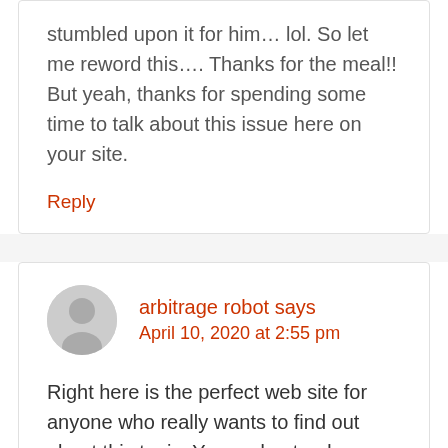stumbled upon it for him… lol. So let me reword this…. Thanks for the meal!! But yeah, thanks for spending some time to talk about this issue here on your site.
Reply
arbitrage robot says
April 10, 2020 at 2:55 pm
Right here is the perfect web site for anyone who really wants to find out about this topic. You understand so much its almost hard to argue with you (not that I personally will need